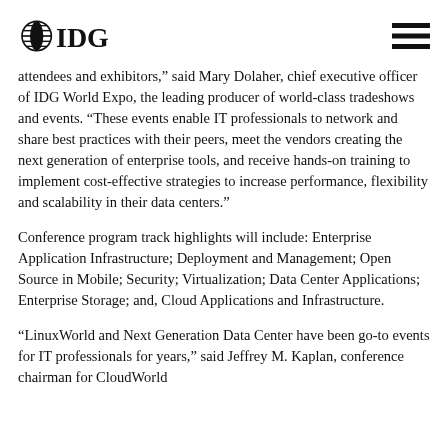IDG
attendees and exhibitors,” said Mary Dolaher, chief executive officer of IDG World Expo, the leading producer of world-class tradeshows and events. “These events enable IT professionals to network and share best practices with their peers, meet the vendors creating the next generation of enterprise tools, and receive hands-on training to implement cost-effective strategies to increase performance, flexibility and scalability in their data centers.”
Conference program track highlights will include: Enterprise Application Infrastructure; Deployment and Management; Open Source in Mobile; Security; Virtualization; Data Center Applications; Enterprise Storage; and, Cloud Applications and Infrastructure.
“LinuxWorld and Next Generation Data Center have been go-to events for IT professionals for years,” said Jeffrey M. Kaplan, conference chairman for CloudWorld